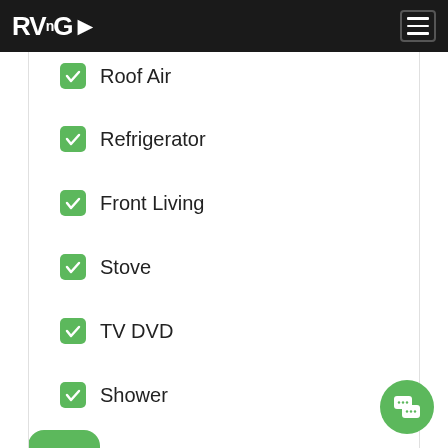RVnGO
Roof Air
Refrigerator
Front Living
Stove
TV DVD
Shower
Kitchen Sink
Toilet